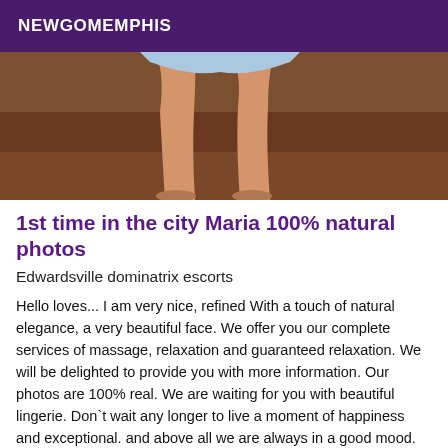NEWGOMEMPHIS
[Figure (photo): Photo showing legs of a person seated, wearing a floral outfit, against a brown background]
1st time in the city Maria 100% natural photos
Edwardsville dominatrix escorts
Hello loves... I am very nice, refined With a touch of natural elegance, a very beautiful face. We offer you our complete services of massage, relaxation and guaranteed relaxation. We will be delighted to provide you with more information. Our photos are 100% real. We are waiting for you with beautiful lingerie. Don`t wait any longer to live a moment of happiness and exceptional. and above all we are always in a good mood. Contact us to arrange an appointment. Kisses